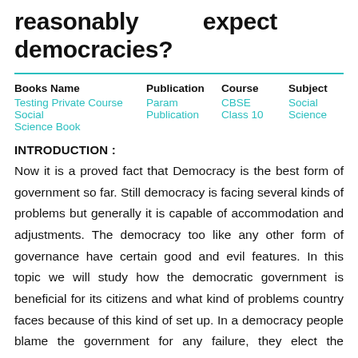reasonably expect of democracies?
| Books Name | Publication | Course | Subject |
| --- | --- | --- | --- |
| Testing Private Course Social Science Book | Param Publication | CBSE Class 10 | Social Science |
INTRODUCTION :
Now it is a proved fact that Democracy is the best form of government so far. Still democracy is facing several kinds of problems but generally it is capable of accommodation and adjustments. The democracy too like any other form of governance have certain good and evil features. In this topic we will study how the democratic government is beneficial for its citizens and what kind of problems country faces because of this kind of set up. In a democracy people blame the government for any failure, they elect the government.